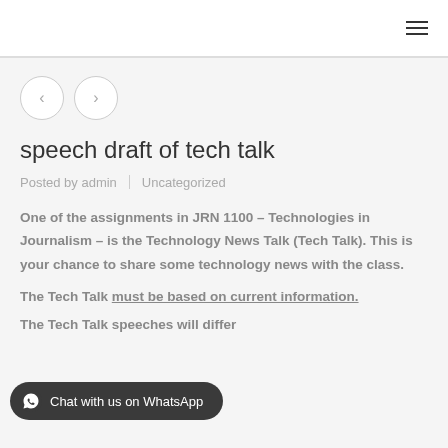speech draft of tech talk
Posted by admin | Uncategorized
One of the assignments in JRN 1100 – Technologies in Journalism – is the Technology News Talk (Tech Talk). This is your chance to share some technology news with the class.
The Tech Talk must be based on current information.
The Tech Talk speeches will differ...
Chat with us on WhatsApp